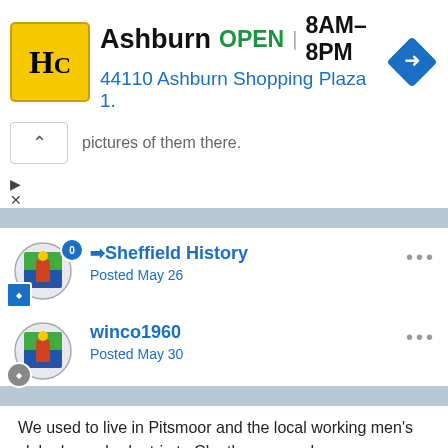[Figure (screenshot): Ad banner for a business called Harp City showing logo, OPEN, hours 8AM-8PM, address 44110 Ashburn Shopping Plaza 1., and navigation arrow icon]
pictures of them there.
→Sheffield History
Posted May 26
Absolutely amazing photos in this thread!
winco1960
Posted May 30
We used to live in Pitsmoor and the local working men's club always had a trip to Cleethorpes each summer.